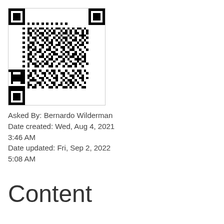[Figure (other): QR code image]
Asked By: Bernardo Wilderman
Date created: Wed, Aug 4, 2021 3:46 AM
Date updated: Fri, Sep 2, 2022 5:08 AM
Content